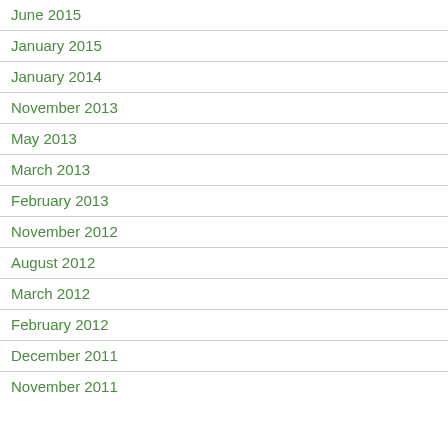June 2015
January 2015
January 2014
November 2013
May 2013
March 2013
February 2013
November 2012
August 2012
March 2012
February 2012
December 2011
November 2011